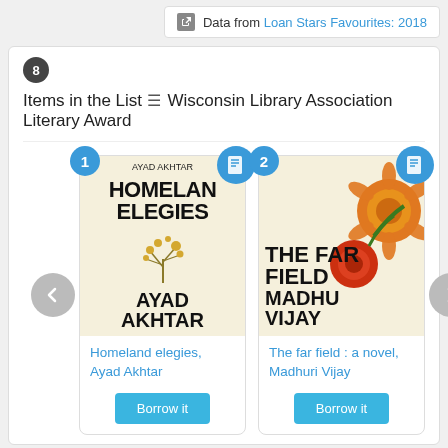Data from Loan Stars Favourites: 2018
8 Items in the List ≡ Wisconsin Library Association Literary Award
[Figure (illustration): Book cover: Homeland Elegies by Ayad Akhtar — cream background with stylized gold tree illustration, bold black typography]
Homeland elegies, Ayad Akhtar
Borrow it
[Figure (illustration): Book cover: The Far Field by Madhuri Vijay — cream background with orange and red marigold flowers, bold black typography]
The far field : a novel, Madhuri Vijay
Borrow it